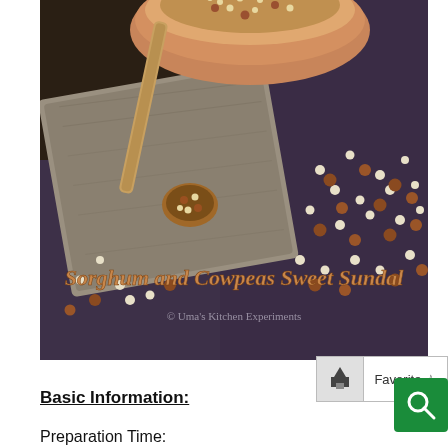[Figure (photo): A rustic food photograph showing sorghum and cowpeas grains scattered on a dark purple surface, a weathered wooden board, a wooden spoon with grains, and a terracotta bowl at the top containing the grains. Text overlay reads 'Sorghum and Cowpeas Sweet Sundal' with watermark '© Uma's Kitchen Experiments'.]
Basic Information: